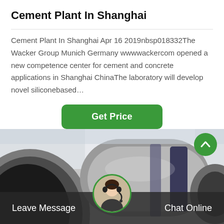Cement Plant In Shanghai
Cement Plant In Shanghai Apr 16 2019nbsp018332The Wacker Group Munich Germany wwwwackercom opened a new competence center for cement and concrete applications in Shanghai ChinaThe laboratory will develop novel siliconebased…
[Figure (other): Green 'Get Price' button]
[Figure (photo): Industrial cement plant machinery — large cylindrical rotary kiln or drum mill equipment in a factory setting, photographed from close range showing the curved grey metal surface and dark interior opening.]
Leave Message   Chat Online